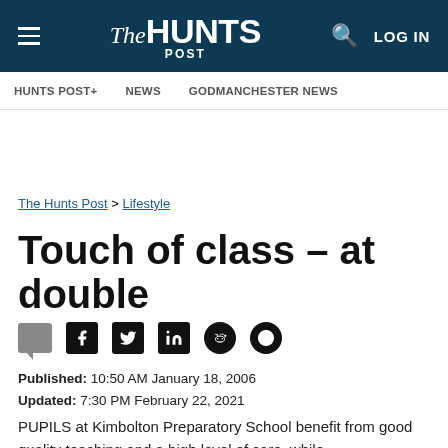The HUNTS POST — LOG IN
HUNTS POST+   NEWS   GODMANCHESTER NEWS
The Hunts Post > Lifestyle
Touch of class – at double
Published: 10:50 AM January 18, 2006
Updated: 7:30 PM February 22, 2021
PUPILS at Kimbolton Preparatory School benefit from good quality teaching and a high level of care, while